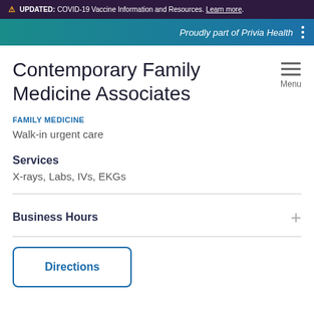⚠ UPDATED: COVID-19 Vaccine Information and Resources. Learn more.
Proudly part of Privia Health
Contemporary Family Medicine Associates
FAMILY MEDICINE
Walk-in urgent care
Services
X-rays, Labs, IVs, EKGs
Business Hours
Directions